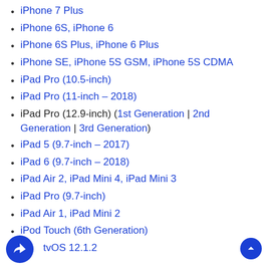iPhone 7 Plus
iPhone 6S, iPhone 6
iPhone 6S Plus, iPhone 6 Plus
iPhone SE, iPhone 5S GSM, iPhone 5S CDMA
iPad Pro (10.5-inch)
iPad Pro (11-inch – 2018)
iPad Pro (12.9-inch) (1st Generation | 2nd Generation | 3rd Generation)
iPad 5 (9.7-inch – 2017)
iPad 6 (9.7-inch – 2018)
iPad Air 2, iPad Mini 4, iPad Mini 3
iPad Pro (9.7-inch)
iPad Air 1, iPad Mini 2
iPod Touch (6th Generation)
tvOS 12.1.2